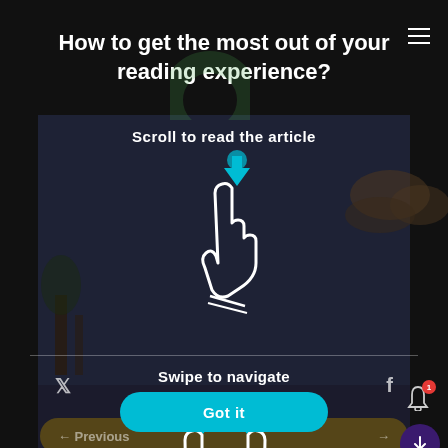How to get the most out of your reading experience?
Scroll to read the article
[Figure (illustration): A hand with one finger pointing down with a cyan downward arrow, indicating scroll gesture]
Swipe to navigate between articles
[Figure (illustration): Two hands with cyan arrows pointing left and right, indicating swipe navigation gesture]
Got it